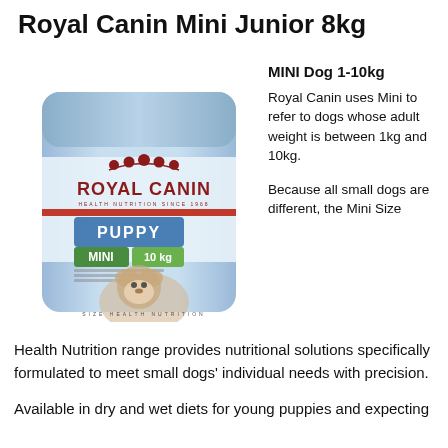Royal Canin Mini Junior 8kg
[Figure (photo): Royal Canin Mini Junior 8kg puppy food bag showing a puppy on the front, light blue packaging with red Royal Canin logo and green Mini label]
MINI Dog 1-10kg
Royal Canin uses Mini to refer to dogs whose adult weight is between 1kg and 10kg.
Because all small dogs are different, the Mini Size Health Nutrition range provides nutritional solutions specifically formulated to meet small dogs' individual needs with precision.
Available in dry and wet diets for young puppies and expecting